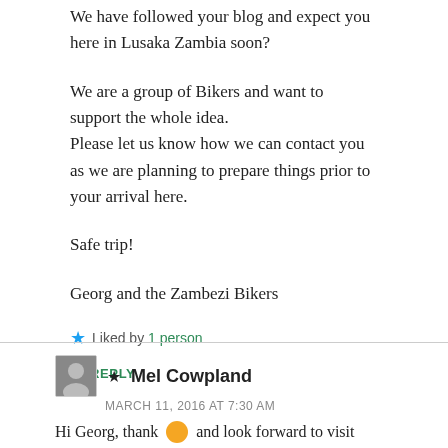We have followed your blog and expect you here in Lusaka Zambia soon?
We are a group of Bikers and want to support the whole idea.
Please let us know how we can contact you as we are planning to prepare things prior to your arrival here.
Safe trip!
Georg and the Zambezi Bikers
★ Liked by 1 person
↳ REPLY
★ Mel Cowpland
MARCH 11, 2016 AT 7:30 AM